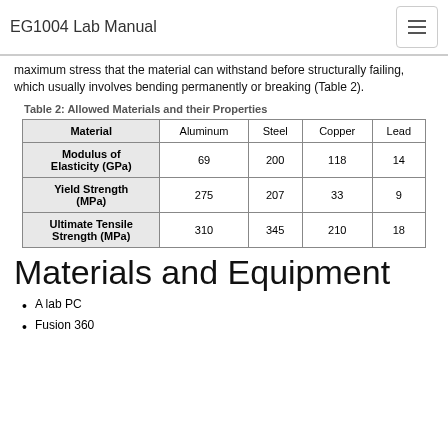EG1004 Lab Manual
maximum stress that the material can withstand before structurally failing, which usually involves bending permanently or breaking (Table 2).
Table 2: Allowed Materials and their Properties
| Material | Aluminum | Steel | Copper | Lead |
| --- | --- | --- | --- | --- |
| Modulus of Elasticity (GPa) | 69 | 200 | 118 | 14 |
| Yield Strength (MPa) | 275 | 207 | 33 | 9 |
| Ultimate Tensile Strength (MPa) | 310 | 345 | 210 | 18 |
Materials and Equipment
A lab PC
Fusion 360